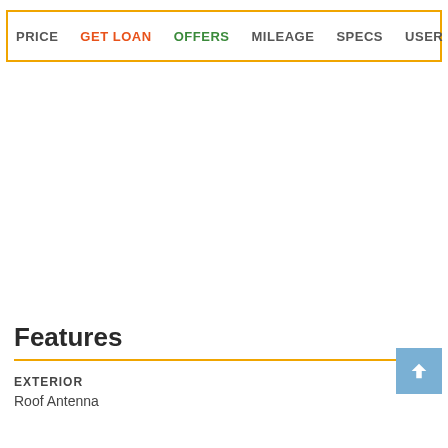PRICE  GET LOAN  OFFERS  MILEAGE  SPECS  USER REVIEWS
Features
EXTERIOR
Roof Antenna